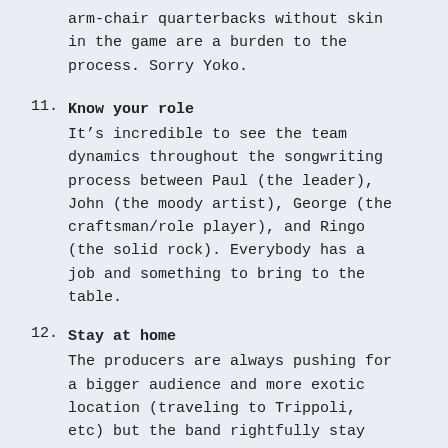arm-chair quarterbacks without skin in the game are a burden to the process. Sorry Yoko.
11. Know your role
It’s incredible to see the team dynamics throughout the songwriting process between Paul (the leader), John (the moody artist), George (the craftsman/role player), and Ringo (the solid rock). Everybody has a job and something to bring to the table.
12. Stay at home
The producers are always pushing for a bigger audience and more exotic location (traveling to Trippoli, etc) but the band rightfully stay